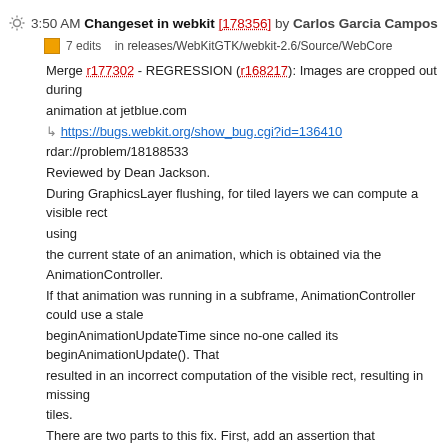3:50 AM Changeset in webkit [178356] by Carlos Garcia Campos
7 edits   in releases/WebKitGTK/webkit-2.6/Source/WebCore
Merge r177302 - REGRESSION (r168217): Images are cropped out during animation at jetblue.com
↳ https://bugs.webkit.org/show_bug.cgi?id=136410
rdar://problem/18188533
Reviewed by Dean Jackson.
During GraphicsLayer flushing, for tiled layers we can compute a visible rect using
the current state of an animation, which is obtained via the AnimationController.
If that animation was running in a subframe, AnimationController could use a stale
beginAnimationUpdateTime since no-one called its beginAnimationUpdate(). That
resulted in an incorrect computation of the visible rect, resulting in missing tiles.
There are two parts to this fix. First, add an assertion that beginAnimationUpdateTime()
is being called inside an animation update block. This required moving m_beginAnimationUpdateCount
into AnimationControllerPrivate, and changes to endAnimationUpdate().
The second is adding a AnimationUpdateBlock to getAnimatedStyleForRenderer(), which
can be called outside of style resolution. We also need some in other API